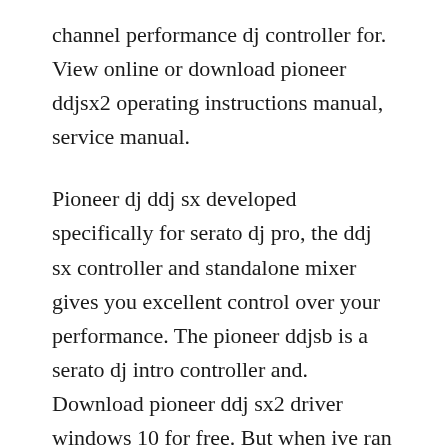channel performance dj controller for. View online or download pioneer ddjsx2 operating instructions manual, service manual.
Pioneer dj ddj sx developed specifically for serato dj pro, the ddj sx controller and standalone mixer gives you excellent control over your performance. The pioneer ddjsb is a serato dj intro controller and. Download pioneer ddj sx2 driver windows 10 for free. But when ive ran serato with the dvs plugin it changes the hardware driver setting to ddj sx2 2in2out and vdj doesnt recognize it any more.